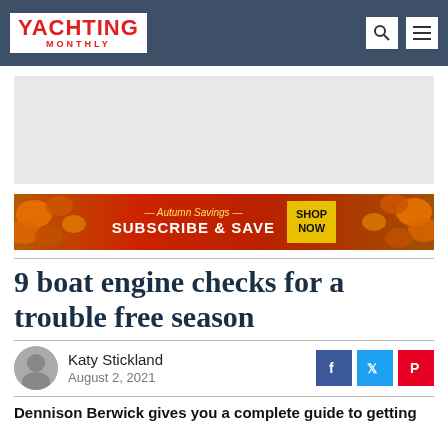YACHTING MONTHLY
[Figure (other): Advertisement placeholder (grey box)]
[Figure (other): Autumn Savings – Subscribe & Save promotional banner with autumn leaf imagery and Shop Now button]
9 boat engine checks for a trouble free season
Katy Stickland
August 2, 2021
Dennison Berwick gives you a complete guide to getting